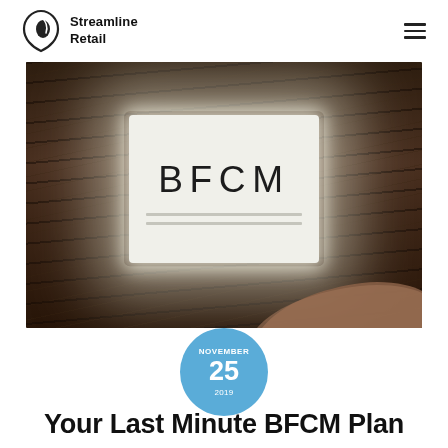Streamline Retail
[Figure (photo): A hand holding a glowing lightbox sign displaying the letters BFCM against a dark wooden background.]
NOVEMBER 25 2019
Your Last Minute BFCM Plan